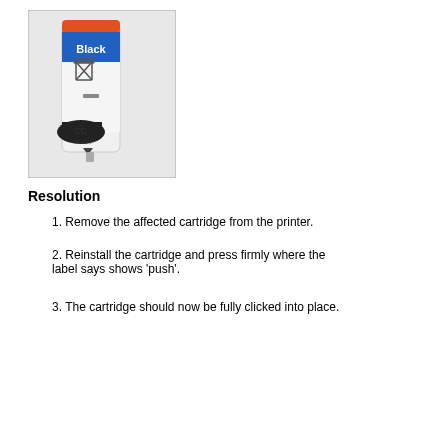[Figure (photo): Photo of a black ink cartridge with blue label reading 'Black', orange top, WEEE symbol, CE mark, and 'PUSH' label at bottom with arrow indicator.]
Resolution
1. Remove the affected cartridge from the printer.
2. Reinstall the cartridge and press firmly where the label says shows 'push'.
3. The cartridge should now be fully clicked into place.